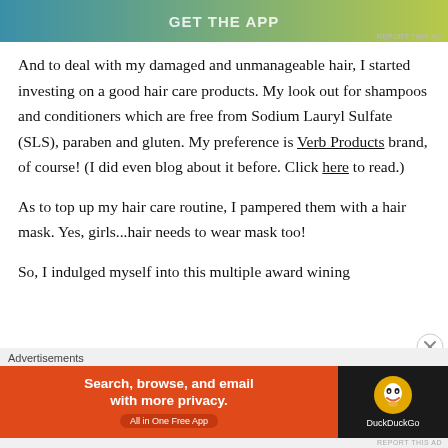[Figure (other): Top advertisement banner with gradient background (teal to yellow-green), showing partial text 'GET THE APP' in white bold uppercase letters]
And to deal with my damaged and unmanageable hair, I started investing on a good hair care products. My look out for shampoos and conditioners which are free from Sodium Lauryl Sulfate (SLS), paraben and gluten. My preference is Verb Products brand, of course! (I did even blog about it before. Click here to read.)
As to top up my hair care routine, I pampered them with a hair mask. Yes, girls...hair needs to wear mask too!
So, I indulged myself into this multiple award wining
[Figure (other): Bottom advertisement banner for DuckDuckGo: orange section with 'Search, browse, and email with more privacy. All in One Free App' and dark section with DuckDuckGo duck logo and brand name]